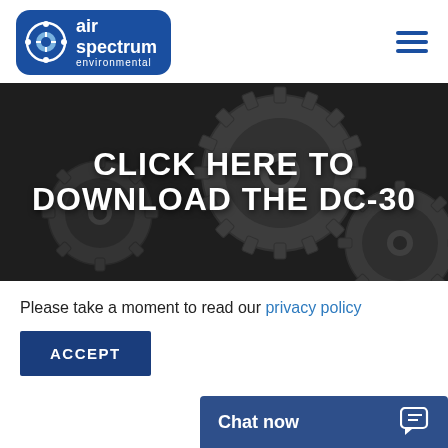[Figure (logo): Air Spectrum Environmental logo — blue rounded rectangle with gear/molecule icon and white text reading 'air spectrum environmental']
[Figure (screenshot): Black and white photo of industrial metal gears with white bold text overlay: 'CLICK HERE TO DOWNLOAD THE DC-30']
Please take a moment to read our privacy policy
ACCEPT
Chat now